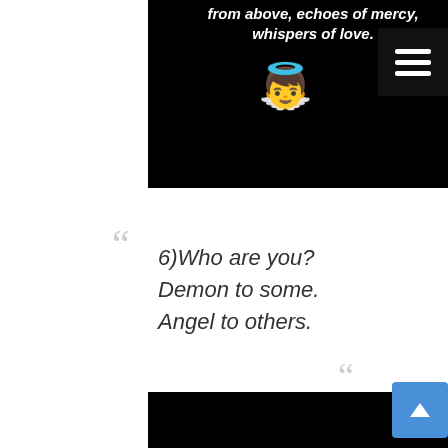[Figure (screenshot): Black background panel with white bold italic text reading 'from above, echoes of mercy, whispers of love.' and an angel emoji (yellow angel face with halo and wings). A dark hamburger menu button is in the top right corner.]
6)Who are you?
Demon to some.
Angel to others.
[Figure (screenshot): Black background panel at the bottom of the page, partially visible. A blue scroll-to-top button with an upward arrow is in the bottom right.]